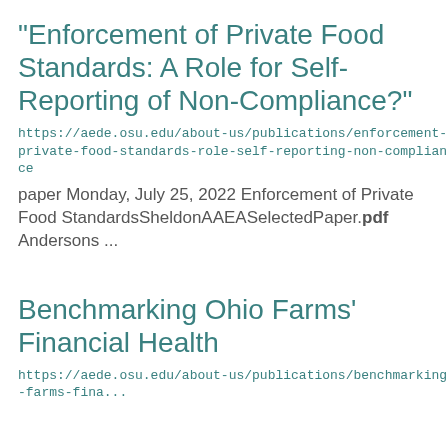"Enforcement of Private Food Standards: A Role for Self-Reporting of Non-Compliance?"
https://aede.osu.edu/about-us/publications/enforcement-private-food-standards-role-self-reporting-non-compliance
paper Monday, July 25, 2022 Enforcement of Private Food StandardsSheldonAAEASelectedPaper.pdf Andersons ...
Benchmarking Ohio Farms' Financial Health
https://aede.osu.edu/about-us/publications/benchmarking-farms-fina...